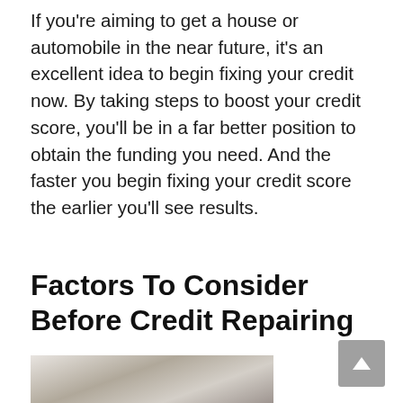If you're aiming to get a house or automobile in the near future, it's an excellent idea to begin fixing your credit now. By taking steps to boost your credit score, you'll be in a far better position to obtain the funding you need. And the faster you begin fixing your credit score the earlier you'll see results.
Factors To Consider Before Credit Repairing
[Figure (photo): Partial photo of a person in a white shirt, cropped at page bottom]